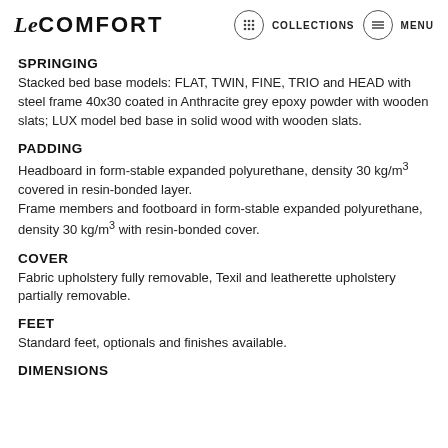Le COMFORT   COLLECTIONS   MENU
SPRINGING
Stacked bed base models: FLAT, TWIN, FINE, TRIO and HEAD with steel frame 40x30 coated in Anthracite grey epoxy powder with wooden slats; LUX model bed base in solid wood with wooden slats.
PADDING
Headboard in form-stable expanded polyurethane, density 30 kg/m³ covered in resin-bonded layer.
Frame members and footboard in form-stable expanded polyurethane, density 30 kg/m³ with resin-bonded cover.
COVER
Fabric upholstery fully removable, Texil and leatherette upholstery partially removable.
FEET
Standard feet, optionals and finishes available.
DIMENSIONS